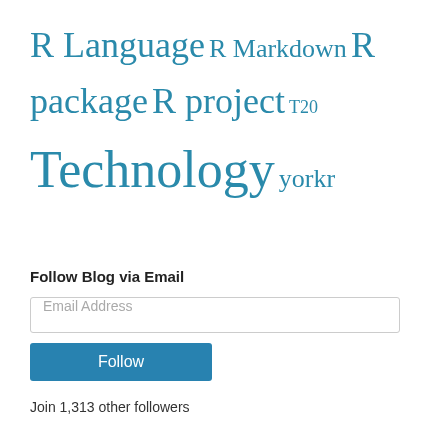R Language R Markdown R package R project T20 Technology yorkr
Follow Blog via Email
Email Address
Follow
Join 1,313 other followers